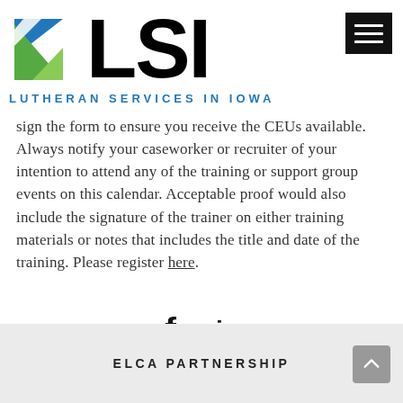[Figure (logo): LSI Lutheran Services in Iowa logo with blue-green icon and large black LSI text and blue subtitle]
sign the form to ensure you receive the CEUs available. Always notify your caseworker or recruiter of your intention to attend any of the training or support group events on this calendar. Acceptable proof would also include the signature of the trainer on either training materials or notes that includes the title and date of the training. Please register here.
[Figure (infographic): Social media icons: Facebook f and LinkedIn in]
ELCA PARTNERSHIP